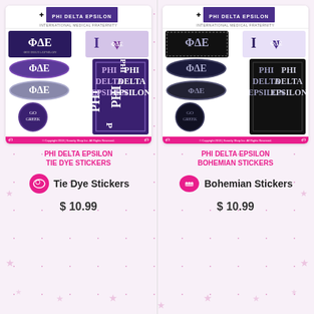[Figure (photo): Phi Delta Epsilon Tie Dye sticker sheet showing multiple purple stickers with Greek letters ΦΔΕ, I love ΦΔΕ heart, oval stickers, vertical PHI DELTA EPSILON bar sticker, and Go Greek circle sticker]
PHI DELTA EPSILON TIE DYE STICKERS
[Figure (logo): Pink tie dye icon badge]
Tie Dye Stickers
$ 10.99
[Figure (photo): Phi Delta Epsilon Bohemian sticker sheet showing multiple dark/black stickers with Greek letters ΦΔΕ, I love ΦΔΕ heart, oval stickers, vertical PHI DELTA EPSILON bar sticker, and Go Greek circle sticker]
PHI DELTA EPSILON BOHEMIAN STICKERS
[Figure (logo): Pink bohemian icon badge]
Bohemian Stickers
$ 10.99